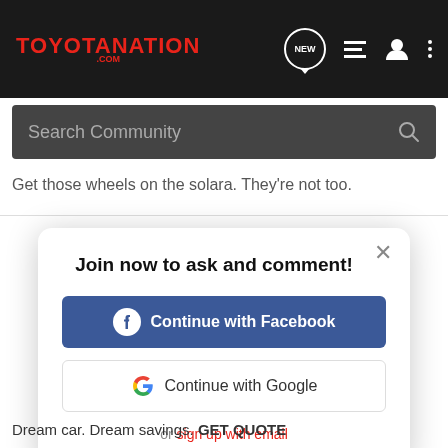TOYOTANATION.COM
Search Community
Get those wheels on the solara. They're not too.
Join now to ask and comment!
Continue with Facebook
Continue with Google
or sign up with email
Dream car. Dream savings. GET QUOTE